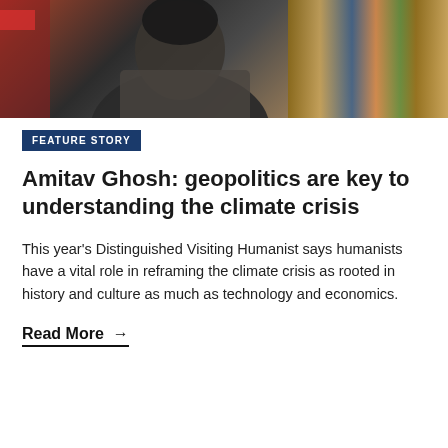[Figure (photo): Photo of a person in a bookstore or library setting, with bookshelves visible in the background]
FEATURE STORY
Amitav Ghosh: geopolitics are key to understanding the climate crisis
This year's Distinguished Visiting Humanist says humanists have a vital role in reframing the climate crisis as rooted in history and culture as much as technology and economics.
Read More →